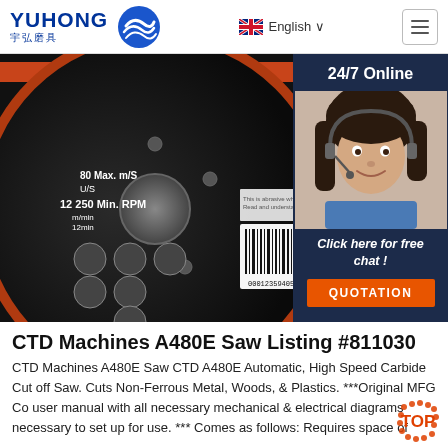YUHONG 宇弘磨具 | English | Menu
[Figure (photo): Grinding/cut-off disc (abrasive wheel) shown face-down with safety icons, barcode, and specifications. Right side shows 24/7 Online support overlay with female customer service agent wearing headset.]
CTD Machines A480E Saw Listing #811030
CTD Machines A480E Saw CTD A480E Automatic, High Speed Carbide Cut off Saw. Cuts Non-Ferrous Metal, Woods, & Plastics. ***Original MFG Co user manual with all necessary mechanical & electrical diagrams necessary to set up for use. *** Comes as follows: Requires space of